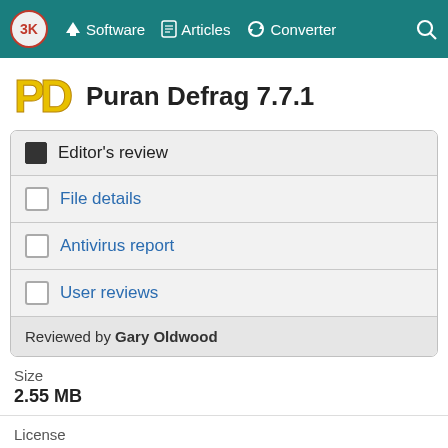3K  Software  Articles  Converter  Search
Puran Defrag 7.7.1
Editor's review
File details
Antivirus report
User reviews
Reviewed by Gary Oldwood
Size
2.55 MB
License
Freeware
OS
Wind...